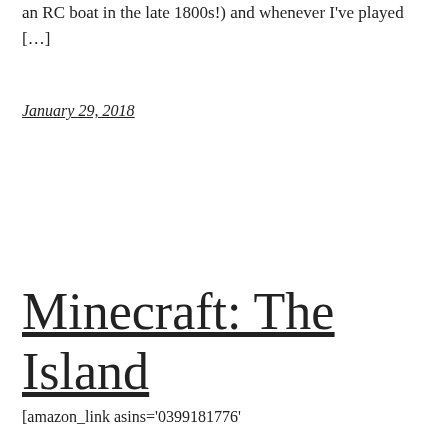an RC boat in the late 1800s!) and whenever I've played […]
January 29, 2018
Minecraft: The Island
[amazon_link asins='0399181776'